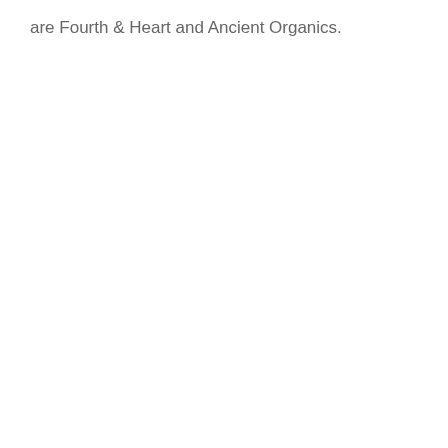are Fourth & Heart and Ancient Organics.